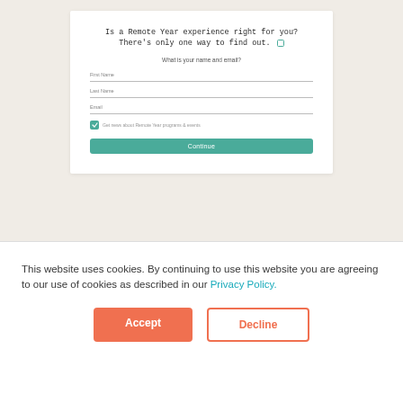[Figure (screenshot): A web form card on a beige background with title 'Is a Remote Year experience right for you? There's only one way to find out.' followed by subtitle 'What is your name and email?' and input fields for First Name, Last Name, Email, a checked checkbox labeled 'Get news about Remote Year programs & events', and a teal Continue button.]
This website uses cookies. By continuing to use this website you are agreeing to our use of cookies as described in our Privacy Policy.
Accept
Decline